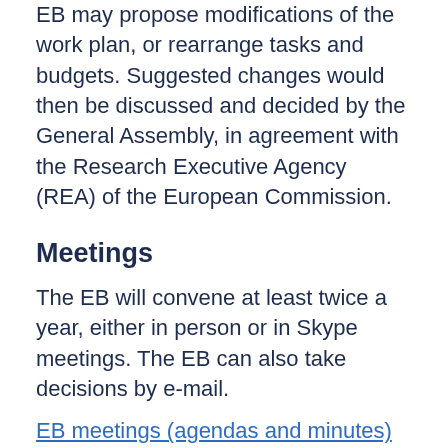EB may propose modifications of the work plan, or rearrange tasks and budgets. Suggested changes would then be discussed and decided by the General Assembly, in agreement with the Research Executive Agency (REA) of the European Commission.
Meetings
The EB will convene at least twice a year, either in person or in Skype meetings. The EB can also take decisions by e-mail.
EB meetings (agendas and minutes)
Members